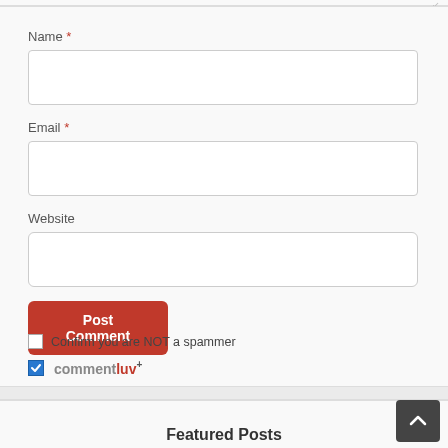Name *
[Figure (screenshot): Empty text input field for Name]
Email *
[Figure (screenshot): Empty text input field for Email]
Website
[Figure (screenshot): Empty text input field for Website]
Post Comment
Confirm you are NOT a spammer
commentluv+
Featured Posts